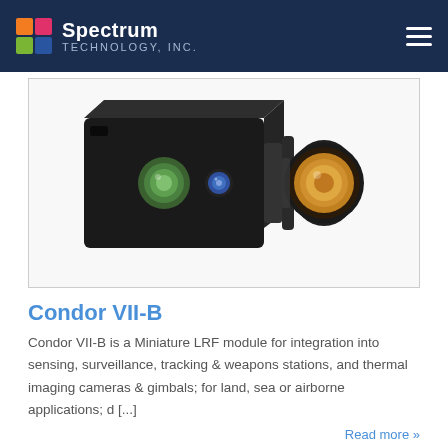Spectrum Technology, Inc.
[Figure (photo): Condor VII-B miniature LRF module — a black box-shaped laser rangefinder with multiple optical lenses, one green lens on the front face, one blue lens mid-body, and a large yellow-tinted circular telephoto lens on the right side mounted on a bracket.]
Condor VII-B
Condor VII-B is a Miniature LRF module for integration into sensing, surveillance, tracking & weapons stations, and thermal imaging cameras & gimbals; for land, sea or airborne applications; d [...]
Read more »